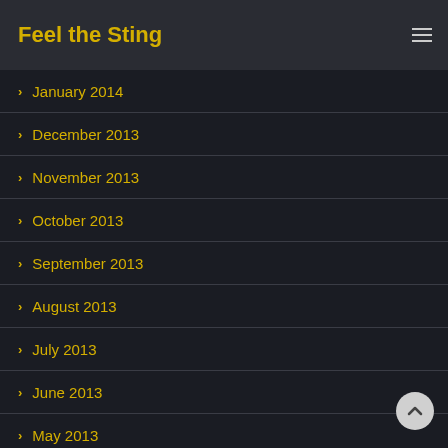Feel the Sting
January 2014
December 2013
November 2013
October 2013
September 2013
August 2013
July 2013
June 2013
May 2013
April 2013
March 2013
February 2013